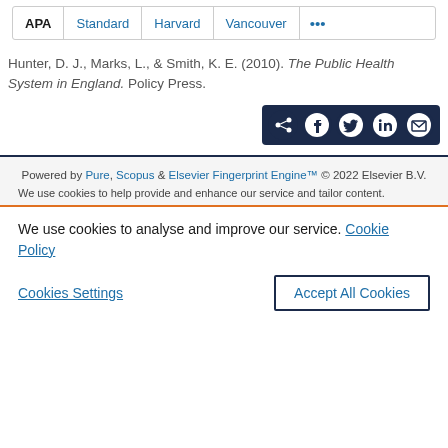[Figure (screenshot): Citation style tab bar with APA (active), Standard, Harvard, Vancouver, and more (…) tabs]
Hunter, D. J., Marks, L., & Smith, K. E. (2010). The Public Health System in England. Policy Press.
[Figure (screenshot): Share button bar with share, Facebook, Twitter, LinkedIn, and email icons on dark navy background]
Powered by Pure, Scopus & Elsevier Fingerprint Engine™ © 2022 Elsevier B.V.
We use cookies to help provide and enhance our service and tailor content.
We use cookies to analyse and improve our service. Cookie Policy
Cookies Settings
Accept All Cookies